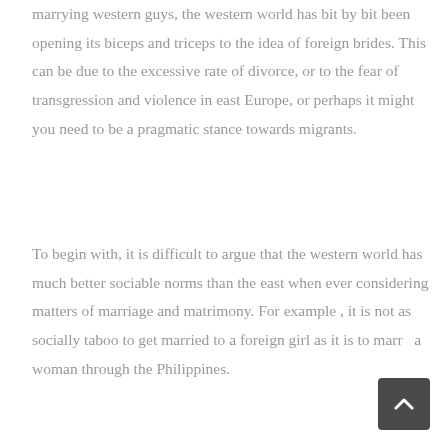marrying western guys, the western world has bit by bit been opening its biceps and triceps to the idea of foreign brides. This can be due to the excessive rate of divorce, or to the fear of transgression and violence in east Europe, or perhaps it might you need to be a pragmatic stance towards migrants.
To begin with, it is difficult to argue that the western world has much better sociable norms than the east when ever considering matters of marriage and matrimony. For example , it is not as socially taboo to get married to a foreign girl as it is to marry a woman through the Philippines.